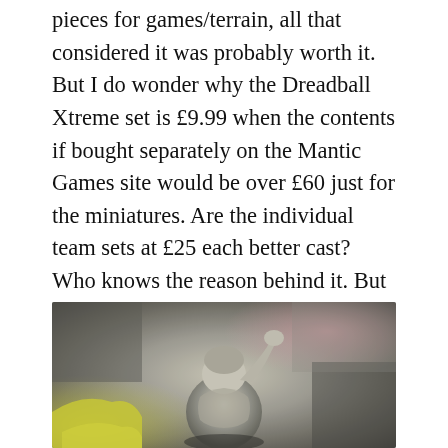pieces for games/terrain, all that considered it was probably worth it. But I do wonder why the Dreadball Xtreme set is £9.99 when the contents if bought separately on the Mantic Games site would be over £60 just for the miniatures. Are the individual team sets at £25 each better cast? Who knows the reason behind it. But I'm happy enough with the amount of material I got from this set.
[Figure (photo): Close-up photograph of a grey/unpainted miniature figurine (appears to be a humanoid character with raised arm/fist) against a blurred background with yellow and pink/purple tones, likely from the Dreadball Xtreme board game set.]